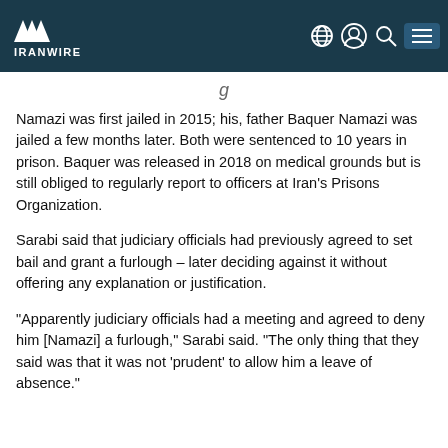IRANWIRE
Namazi was first jailed in 2015; his, father Baquer Namazi was jailed a few months later. Both were sentenced to 10 years in prison. Baquer was released in 2018 on medical grounds but is still obliged to regularly report to officers at Iran’s Prisons Organization.
Sarabi said that judiciary officials had previously agreed to set bail and grant a furlough – later deciding against it without offering any explanation or justification.
“Apparently judiciary officials had a meeting and agreed to deny him [Namazi] a furlough,” Sarabi said. “The only thing that they said was that it was not ‘prudent’ to allow him a leave of absence.”